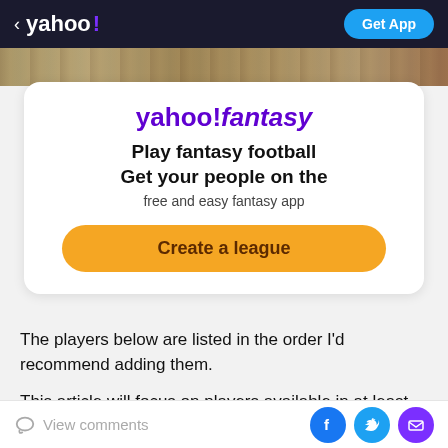< yahoo! | Get App
[Figure (screenshot): Yahoo Fantasy advertisement card with logo, headline text 'Play fantasy football Get your people on the free and easy fantasy app' and 'Create a league' button]
The players below are listed in the order I'd recommend adding them.
This article will focus on players available in at least 50 percent of leagues.
View comments | Facebook | Twitter | Email